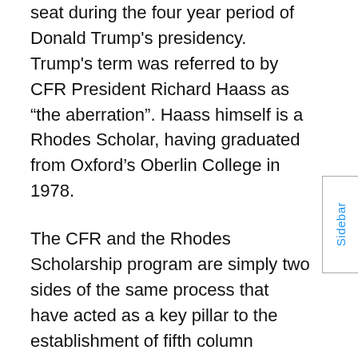seat during the four year period of Donald Trump's presidency. Trump's term was referred to by CFR President Richard Haass as “the aberration”. Haass himself is a Rhodes Scholar, having graduated from Oxford’s Oberlin College in 1978.
The CFR and the Rhodes Scholarship program are simply two sides of the same process that have acted as a key pillar to the establishment of fifth column operations within the USA, and the Trans Atlantic Community more generally, during the past century. Both the CFR and the Rhodes Scholarship were established by the ill-begotten fortunes of Cecil Rhodes.
Cecil Rhodes’ Vision